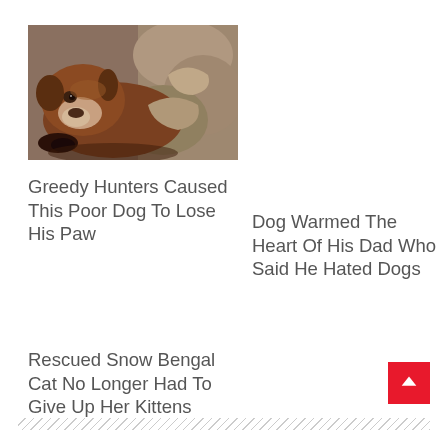[Figure (photo): A brown dog lying down, appearing injured, looking at the camera with sad eyes. Rocky outdoor background.]
Greedy Hunters Caused This Poor Dog To Lose His Paw
Dog Warmed The Heart Of His Dad Who Said He Hated Dogs
Rescued Snow Bengal Cat No Longer Had To Give Up Her Kittens